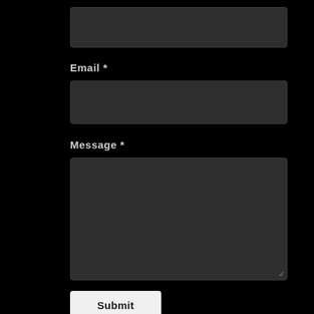[Figure (screenshot): A dark-themed web contact form showing a partial top input field, an Email field with label and input box, a Message field with label and large textarea, and a Submit button. Background is black, input boxes are dark gray (#2e2e2e), labels are light gray. The Submit button is white/light with dark text.]
Email *
Message *
Submit